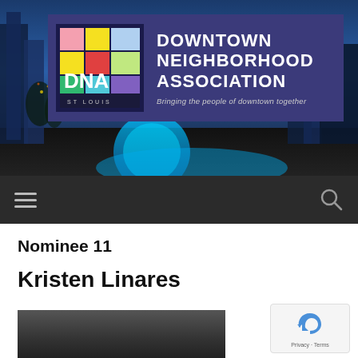[Figure (photo): Downtown St. Louis cityscape at dusk with blue glowing sculpture in foreground, used as website header background]
[Figure (logo): Downtown Neighborhood Association St. Louis logo with colorful grid of colored squares and 'DNA ST. LOUIS' text, on dark purple background with organization name and tagline 'Bringing the people of downtown together']
[Figure (other): Dark navigation bar with hamburger menu icon on left and search magnifying glass icon on right]
Nominee 11
Kristen Linares
[Figure (photo): Partial photo of Kristen Linares, dark background, cropped at bottom of page]
[Figure (other): reCAPTCHA widget with Privacy and Terms text]